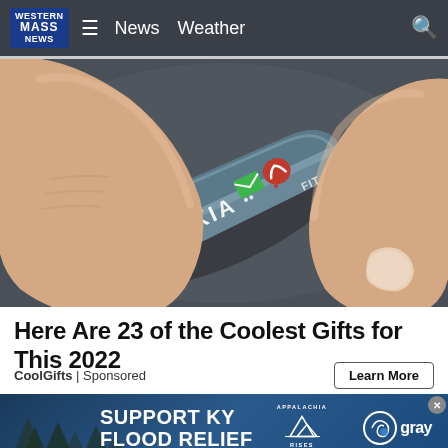Western Mass News — News  Weather
[Figure (photo): Close-up photo of a finger holding a small Nokia FIT device with green envelope and red phone icons on a dark textured surface]
Here Are 23 of the Coolest Gifts for This 2022
CoolGifts | Sponsored
[Figure (infographic): Advertisement banner: SUPPORT KY FLOOD RELIEF with Appalachia Rises and Gray logos, tree silhouettes on blue background]